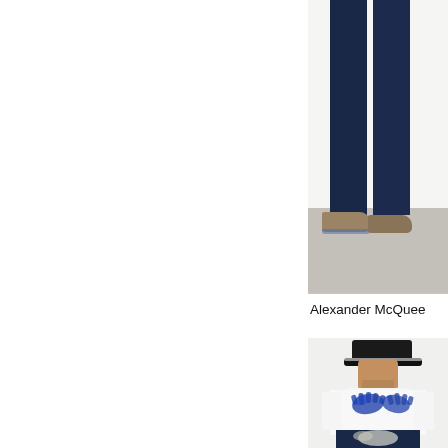[Figure (photo): Fashion photo showing lower body of model in dark navy jeans and tan/suede shoes, standing on light grey floor against white wall. Partially cropped, right side of page, top section.]
Alexander McQuee
[Figure (photo): Fashion photo of a male model wearing a black cap, white button-down shirt with blue paint splash/handprint motifs, and dark navy jeans with white paint/bleach marks. Standing in front of a white wall. Right side of page, bottom section.]